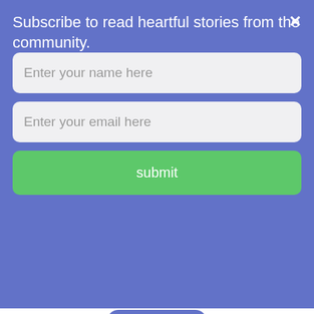Subscribe to read heartful stories from the community.
Enter your name here
Enter your email here
submit
[Figure (other): Convertful badge with lightning bolt icon and text 'by Convertful']
national TV channel. I guess if I had access to the internet then maybe I had done some search or reading?
Anyways, time passed and I was in college. Till school, either mom or dad was always with me wherever I went. Now I was traveling home-college-home all by myself. Dad didn't buy me a two-wheeler so it was all public transport. Soon I realized that everything I had heard about women being harassed or molested even in public places